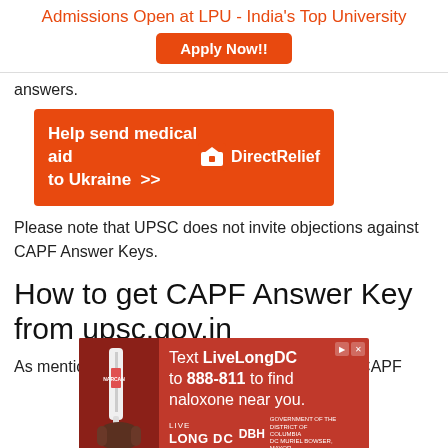Admissions Open at LPU - India's Top University
[Figure (infographic): Apply Now!! button - orange rounded rectangle button]
answers.
[Figure (infographic): Direct Relief advertisement banner - orange background with text 'Help send medical aid to Ukraine >>' and Direct Relief logo]
Please note that UPSC does not invite objections against CAPF Answer Keys.
How to get CAPF Answer Key from upsc.gov.in
As mentioned above, you can get answer key of CAPF
[Figure (infographic): Advertisement: Text LiveLongDC to 888-811 to find naloxone near you. Red background with nasal spray image and Live Long DC / DBH / Government of DC branding.]